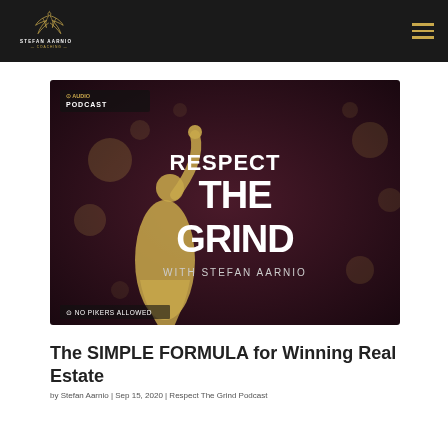Stefan Aarnio Coaching — navigation header
[Figure (other): Podcast cover art for 'Respect The Grind with Stefan Aarnio' audio podcast. Dark purple/maroon background with golden bokeh lights, a gold classical statue raising a trophy, bold white text reading RESPECT THE GRIND WITH STEFAN AARNIO, and small text AUDIO PODCAST and NO PIKERS ALLOWED.]
The SIMPLE FORMULA for Winning Real Estate
by Stefan Aarnio | Sep 15, 2020 | Respect The Grind Podcast